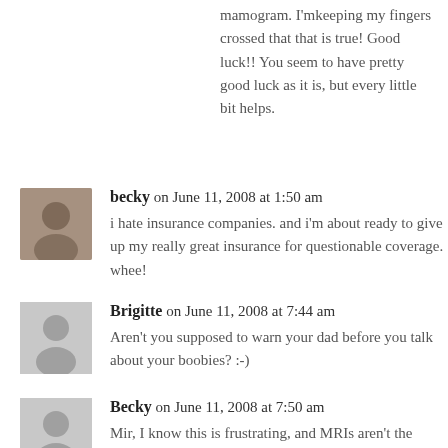mamogram. I'mkeeping my fingers crossed that that is true! Good luck!! You seem to have pretty good luck as it is, but every little bit helps.
becky on June 11, 2008 at 1:50 am
i hate insurance companies. and i'm about ready to give up my really great insurance for questionable coverage. whee!
Brigitte on June 11, 2008 at 7:44 am
Aren't you supposed to warn your dad before you talk about your boobies? :-)
Becky on June 11, 2008 at 7:50 am
Mir, I know this is frustrating, and MRIs aren't the